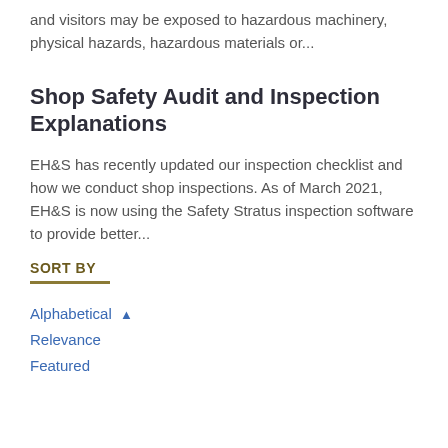and visitors may be exposed to hazardous machinery, physical hazards, hazardous materials or...
Shop Safety Audit and Inspection Explanations
EH&S has recently updated our inspection checklist and how we conduct shop inspections. As of March 2021, EH&S is now using the Safety Stratus inspection software to provide better...
SORT BY
Alphabetical ▲
Relevance
Featured